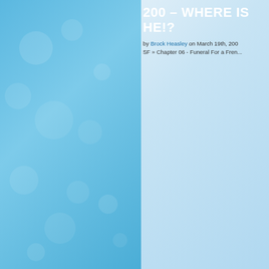200 – WHERE IS HE!?
by Brock Heasley on March 19th, 200... SF » Chapter 06 - Funeral For a Fren...
[Figure (illustration): Two comic strip panels showing a bald man in a suit in the upper panel, and tropical plants with a sign in the lower panel]
Tags: captain spectacular, death m...
Related Comics ¬
Aug 25, 14 | 620 – Her Hus...
Feb 7, 07 | 97 – The Retu...
Jun 1, 10 | SF Origins: Th...
Jan 1, 10 | Guest Strip b...